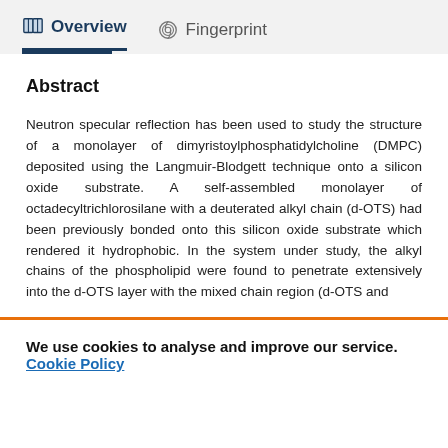Overview   Fingerprint
Abstract
Neutron specular reflection has been used to study the structure of a monolayer of dimyristoylphosphatidylcholine (DMPC) deposited using the Langmuir-Blodgett technique onto a silicon oxide substrate. A self-assembled monolayer of octadecyltrichlorosilane with a deuterated alkyl chain (d-OTS) had been previously bonded onto this silicon oxide substrate which rendered it hydrophobic. In the system under study, the alkyl chains of the phospholipid were found to penetrate extensively into the d-OTS layer with the mixed chain region (d-OTS and
We use cookies to analyse and improve our service. Cookie Policy